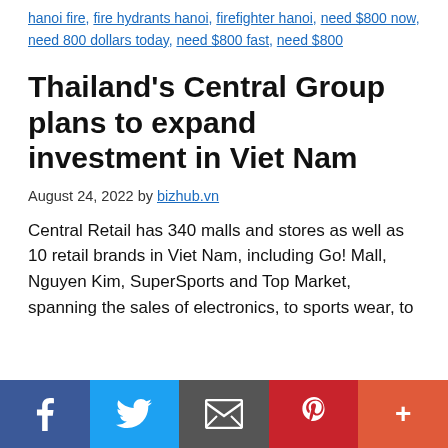hanoi fire, fire hydrants hanoi, firefighter hanoi, need $800 now, need 800 dollars today, need $800 fast, need $800
Thailand's Central Group plans to expand investment in Viet Nam
August 24, 2022 by bizhub.vn
Central Retail has 340 malls and stores as well as 10 retail brands in Viet Nam, including Go! Mall, Nguyen Kim, SuperSports and Top Market, spanning the sales of electronics, to sports wear, to